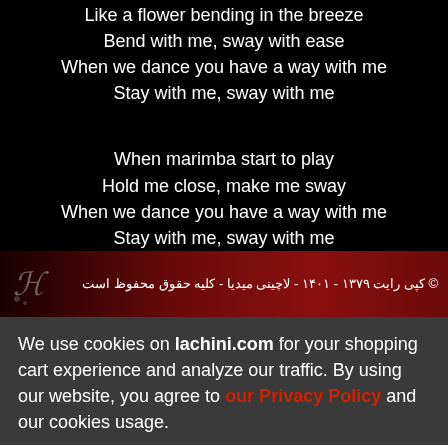Like a flower bending in the breeze
Bend with me, sway with ease
When we dance you have a way with me
Stay with me, sway with me
When marimba start to play
Hold me close, make me sway
When we dance you have a way with me
Stay with me, sway with me
© کپی رایت ۱۳۷۹ - ۱۴۰۱ - لاچینی میدیا - کلیه حقوق محفوظ است
We use cookies on lachini.com for your shopping cart experience and analyze our traffic. By using our website, you agree to our Privacy Policy and our cookies usage.
Accept